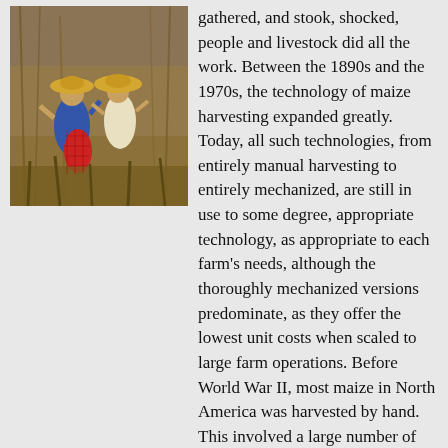[Figure (photo): Two people wearing straw hats harvesting maize/corn by hand in a field, with red mesh bags visible.]
gathered, and stook, shocked, people and livestock did all the work. Between the 1890s and the 1970s, the technology of maize harvesting expanded greatly. Today, all such technologies, from entirely manual harvesting to entirely mechanized, are still in use to some degree, appropriate technology, as appropriate to each farm's needs, although the thoroughly mechanized versions predominate, as they offer the lowest unit costs when scaled to large farm operations. Before World War II, most maize in North America was harvested by hand. This involved a large number of workers and associated social events (husking or shucking communal work, bees). From the 1890s onward, some machinery became available to partially mechanize the processes, such as one- and two-row mechanical pickers (picking the ear, leaving the corn stover, stover) and corn binders, which are reaper-binders designed specifically for maize (for example, ). The latter produce sheaf (agriculture), sheaves that can be stook, shocked. By hand or mechanical picker, the entire ear is harvested, which then requires a separate operation of a maize sheller to